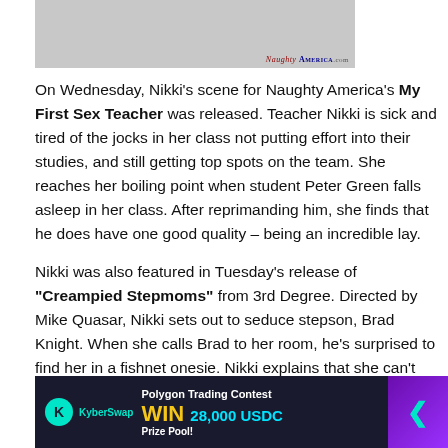[Figure (photo): Partial photo strip at top of page with NaughtyAmerica.com watermark]
On Wednesday, Nikki's scene for Naughty America's My First Sex Teacher was released. Teacher Nikki is sick and tired of the jocks in her class not putting effort into their studies, and still getting top spots on the team. She reaches her boiling point when student Peter Green falls asleep in her class. After reprimanding him, she finds that he does have one good quality – being an incredible lay.
Nikki was also featured in Tuesday's release of "Creampied Stepmoms" from 3rd Degree. Directed by Mike Quasar, Nikki sets out to seduce stepson, Brad Knight. When she calls Brad to her room, he's surprised to find her in a fishnet onesie. Nikki explains that she can't stop thinking of Brad, and wants to show him how much she appreciates him as a stepson. After some mind-blowing sex, Nikki gets the creampie she always wanted.
[Figure (infographic): KyberSwap advertisement banner: Polygon Trading Contest, WIN 28,000 USDC Prize Pool]